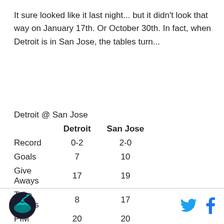It sure looked like it last night... but it didn't look that way on January 17th. Or October 30th. In fact, when Detroit is in San Jose, the tables turn...
|  | Detroit | San Jose |
| --- | --- | --- |
| Record | 0-2 | 2-0 |
| Goals | 7 | 10 |
| Give Aways | 17 | 19 |
| Take Aways | 8 | 17 |
| PIM | 20 | 20 |
[Figure (logo): San Jose Sharks blog logo — circular emblem with shark and hockey stick]
[Figure (logo): Twitter bird icon]
[Figure (logo): Facebook f icon]